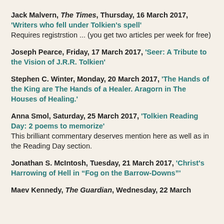Jack Malvern, The Times, Thursday, 16 March 2017, 'Writers who fell under Tolkien's spell' Requires registrstion ... (you get two articles per week for free)
Joseph Pearce, Friday, 17 March 2017, 'Seer: A Tribute to the Vision of J.R.R. Tolkien'
Stephen C. Winter, Monday, 20 March 2017, 'The Hands of the King are The Hands of a Healer. Aragorn in The Houses of Healing.'
Anna Smol, Saturday, 25 March 2017, 'Tolkien Reading Day: 2 poems to memorize' This brilliant commentary deserves mention here as well as in the Reading Day section.
Jonathan S. McIntosh, Tuesday, 21 March 2017, 'Christ's Harrowing of Hell in "Fog on the Barrow-Downs"'
Maev Kennedy, The Guardian, Wednesday, 22 March 2017, '...'